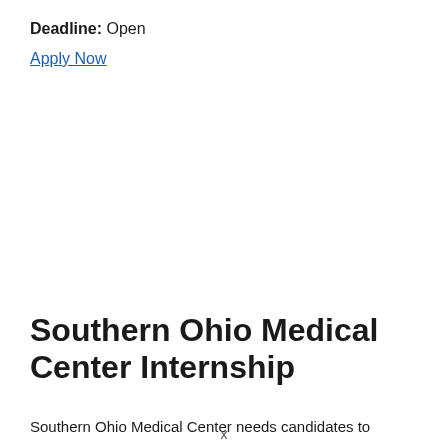Deadline: Open
Apply Now
Southern Ohio Medical Center Internship
Southern Ohio Medical Center needs candidates to
x